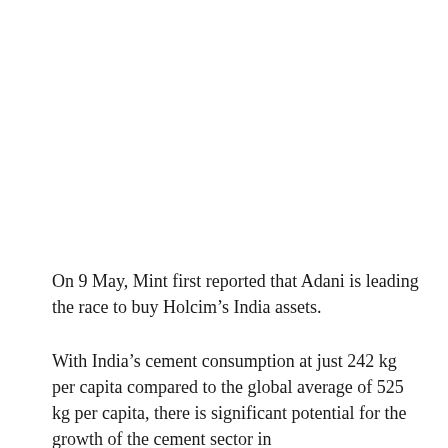On 9 May, Mint first reported that Adani is leading the race to buy Holcim’s India assets.
With India’s cement consumption at just 242 kg per capita compared to the global average of 525 kg per capita, there is significant potential for the growth of the cement sector in